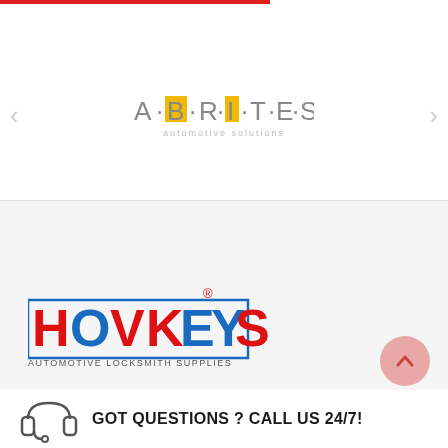[Figure (logo): ABRITES automotive solutions logo centered in white banner area with navigation arrows on sides]
[Figure (logo): HOVKEYS Automotive Locksmith Supplies logo in red and blue with registered trademark symbol]
GOT QUESTIONS ? CALL US 24/7!